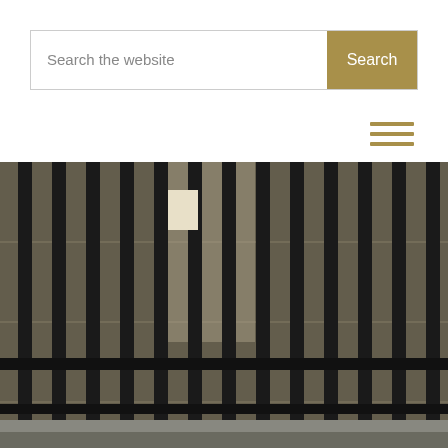Search the website
[Figure (photo): Photo of prison or jail cell bars, dark metal vertical bars with beige/tan tiled walls visible behind them, corridor-like detention facility interior]